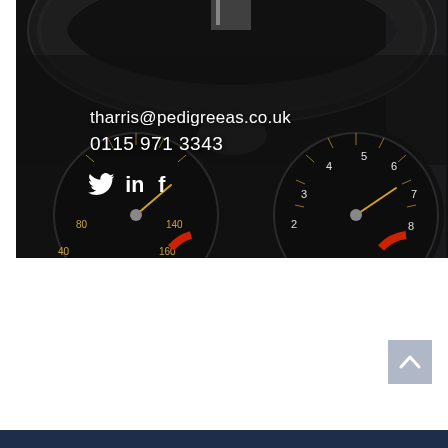[Figure (photo): Car dashboard photo showing two gauges (speedometer and tachometer) visible through a steering wheel. Contact information and social media icons are overlaid on the dark image.]
tharris@pedigreeas.co.uk
0115 971 3343
[Figure (infographic): Social media icons: Twitter bird, LinkedIn 'in', Facebook 'f']
[Figure (other): Back to top button - grey square with upward arrow chevron]